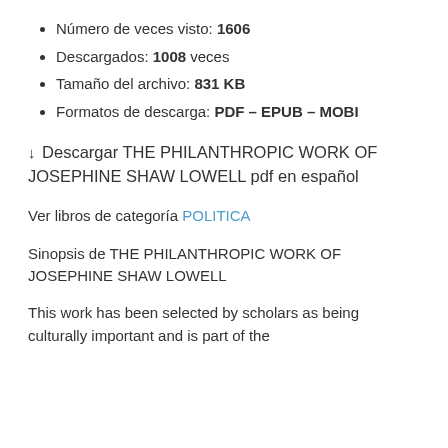Número de veces visto: 1606
Descargados: 1008 veces
Tamaño del archivo: 831 KB
Formatos de descarga: PDF – EPUB – MOBI
⬇ Descargar THE PHILANTHROPIC WORK OF JOSEPHINE SHAW LOWELL pdf en español
Ver libros de categoría POLITICA
Sinopsis de THE PHILANTHROPIC WORK OF JOSEPHINE SHAW LOWELL
This work has been selected by scholars as being culturally important and is part of the